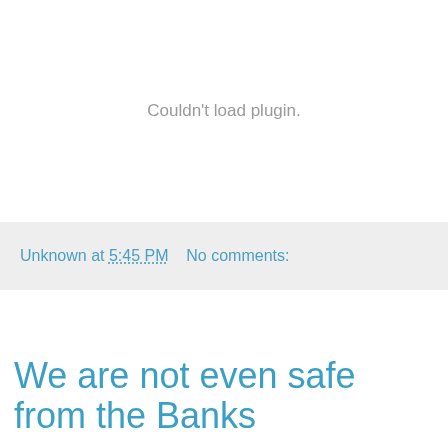[Figure (other): Embedded plugin area showing 'Couldn't load plugin.' error message in gray text on white background]
Unknown at 5:45 PM    No comments:
We are not even safe from the Banks